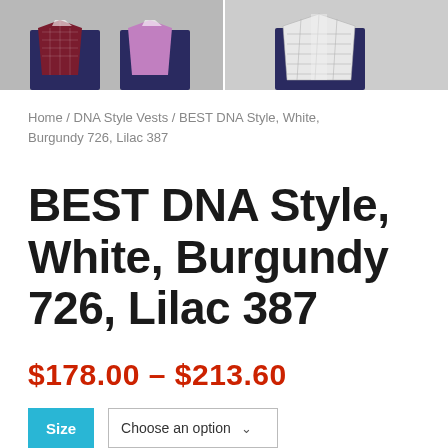[Figure (photo): Two people wearing DNA Style Vests in Burgundy and Lilac colors, shown from behind/side at waist level, against a light background.]
Home / DNA Style Vests / BEST DNA Style, White, Burgundy 726, Lilac 387
BEST DNA Style, White, Burgundy 726, Lilac 387
$178.00 – $213.60
Size  Choose an option